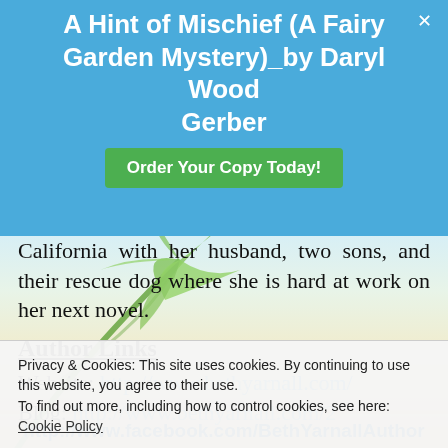A Hint of Mischief (A Fairy Garden Mystery)_by Daryl Wood Gerber | Order Your Copy Today!
California with her husband, two sons, and their rescue dog where she is hard at work on her next novel.
Author Links
Website: http://www.bethyarnall.com/
Blog: http://www.bethyarnall.com/2
Privacy & Cookies: This site uses cookies. By continuing to use this website, you agree to their use. To find out more, including how to control cookies, see here: Cookie Policy
Close and accept
http://www.facebook.com/BethYarnallAuthor